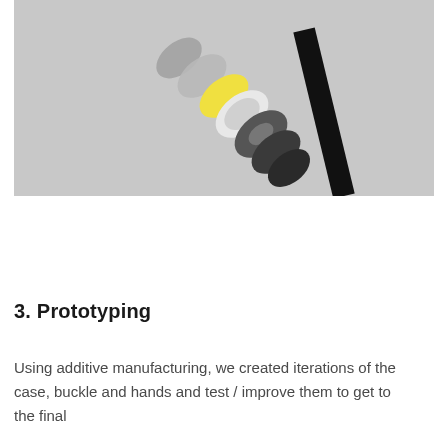[Figure (illustration): Exploded view diagram of circular components (watch parts: case layers, buckle, hands) arranged diagonally on a gray background, with a large black diagonal slash/line element.]
3. Prototyping
Using additive manufacturing, we created iterations of the case, buckle and hands and test / improve them to get to the final